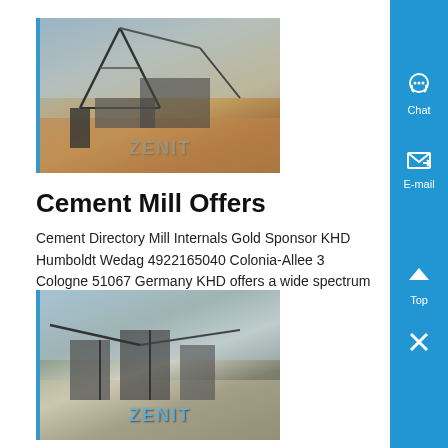[Figure (photo): Industrial mining/cement plant machinery with conveyor belt structures, orange/red clay ground, ZENIT watermark]
Cement Mill Offers
Cement Directory Mill Internals Gold Sponsor KHD Humboldt Wedag 4922165040 Colonia-Allee 3 Cologne 51067 Germany KHD offers a wide spectrum of products and ....
Know More
[Figure (photo): Industrial crushing/screening plant machinery with conveyor structures, ZENIT watermark]